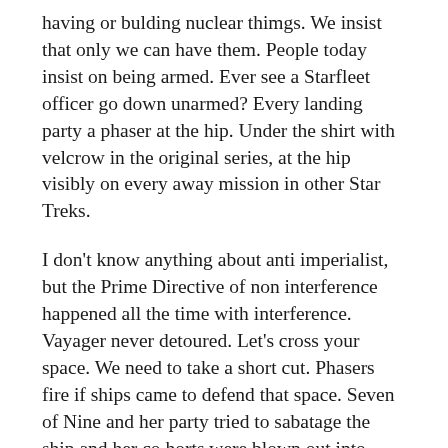having or bulding nuclear thimgs. We insist that only we can have them. People today insist on being armed. Ever see a Starfleet officer go down unarmed? Every landing party a phaser at the hip. Under the shirt with velcrow in the original series, at the hip visibly on every away mission in other Star Treks.
I don't know anything about anti imperialist, but the Prime Directive of non interference happened all the time with interference. Vayager never detoured. Let's cross your space. We need to take a short cut. Phasers fire if ships came to defend that space. Seven of Nine and her party tried to sabatage the ship and her co horts were blown out into space, while lecturing how evil assimilation was. Seven begged to be taken back to the Borg. But no! She